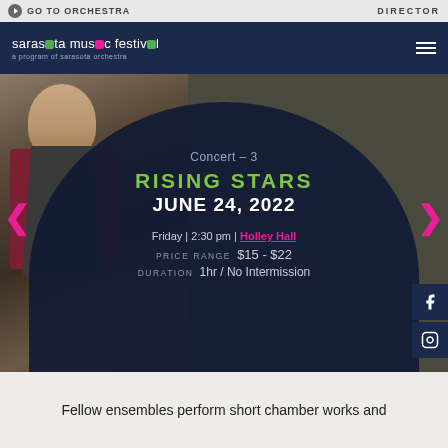GO TO ORCHESTRA | DIRECTOR
[Figure (screenshot): Sarasota Music Festival logo on navy navigation bar with hamburger menu icon]
[Figure (photo): Young male musician in dark vest and burgundy shirt smiling, holding an instrument, with dark navy semicircle overlay containing concert details]
Concert – 3
RISING STARS
JUNE 24, 2022
Friday | 2:30 pm | Holley Hall
PRICE RANGE  $15 - $22
DURATION  1hr / No Intermission
Fellow ensembles perform short chamber works and